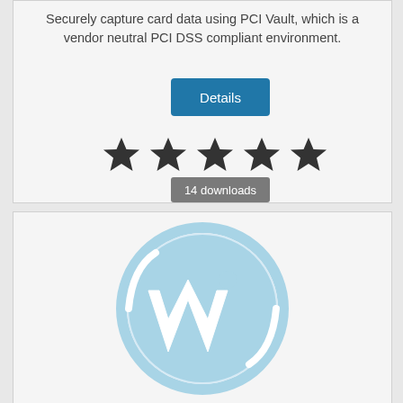Securely capture card data using PCI Vault, which is a vendor neutral PCI DSS compliant environment.
Details
[Figure (other): Five filled black star rating icons in a row]
14 downloads
[Figure (logo): WordPress logo — blue circle with stylized W lettermark]